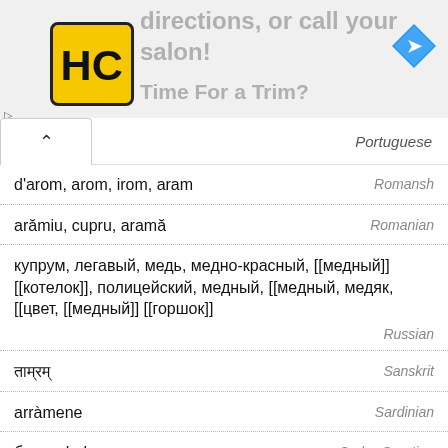[Figure (screenshot): Advertisement banner with HC logo and text 'directions, or call your salon!' and 'Time For a Trim?' with navigation arrow icon]
Portuguese
d'arom, arom, irom, aram — Romansh
arămiu, cupru, aramă — Romanian
купрум, легавый, медь, медно-красный, [[медный]] [[котелок]], полицейский, медный, [[медный, медяк, [[цвет, [[медный]] [[горшок]] — Russian
ताम्रम् — Sanskrit
arràmene — Sardinian
бакар, bakar — Serbo-Croatian